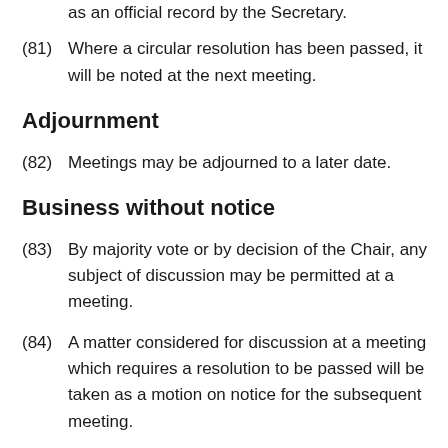as an official record by the Secretary.
(81)   Where a circular resolution has been passed, it will be noted at the next meeting.
Adjournment
(82)   Meetings may be adjourned to a later date.
Business without notice
(83)   By majority vote or by decision of the Chair, any subject of discussion may be permitted at a meeting.
(84)   A matter considered for discussion at a meeting which requires a resolution to be passed will be taken as a motion on notice for the subsequent meeting.
Conflicts of interest